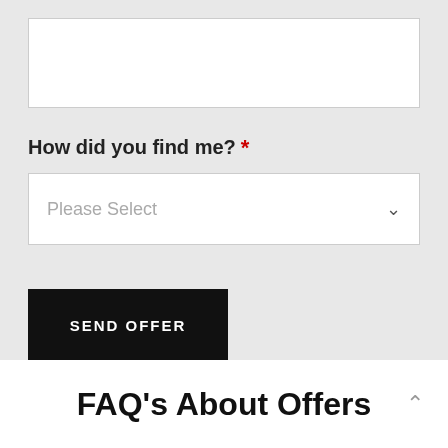[Figure (screenshot): Text input box (empty white rectangle) at top of form]
How did you find me? *
[Figure (screenshot): Dropdown select box with placeholder text 'Please Select' and a chevron arrow on the right]
[Figure (screenshot): Black button labeled 'SEND OFFER']
FAQ's About Offers